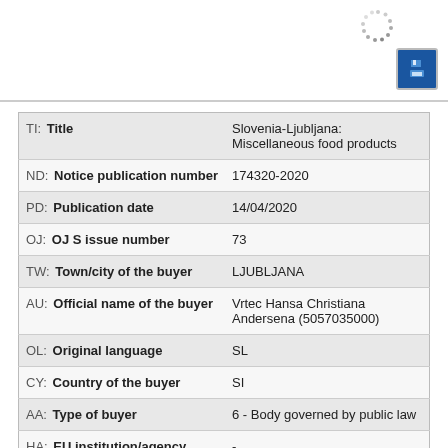| Field | Value |
| --- | --- |
| TI: Title | Slovenia-Ljubljana: Miscellaneous food products |
| ND: Notice publication number | 174320-2020 |
| PD: Publication date | 14/04/2020 |
| OJ: OJ S issue number | 73 |
| TW: Town/city of the buyer | LJUBLJANA |
| AU: Official name of the buyer | Vrtec Hansa Christiana Andersena (5057035000) |
| OL: Original language | SL |
| CY: Country of the buyer | SI |
| AA: Type of buyer | 6 - Body governed by public law |
| HA: EU institution/agency | - |